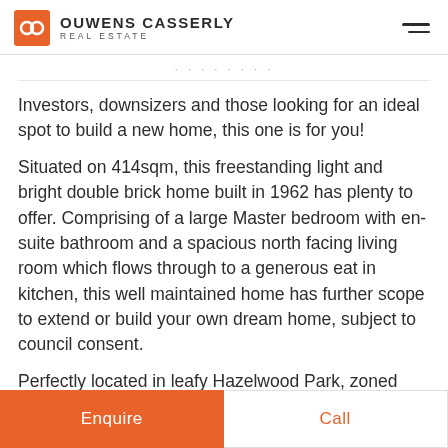OUWENS CASSERLY REAL ESTATE
Investors, downsizers and those looking for an ideal spot to build a new home, this one is for you!
Situated on 414sqm, this freestanding light and bright double brick home built in 1962 has plenty to offer. Comprising of a large Master bedroom with en-suite bathroom and a spacious north facing living room which flows through to a generous eat in kitchen, this well maintained home has further scope to extend or build your own dream home, subject to council consent.
Perfectly located in leafy Hazelwood Park, zoned
Enquire | Call